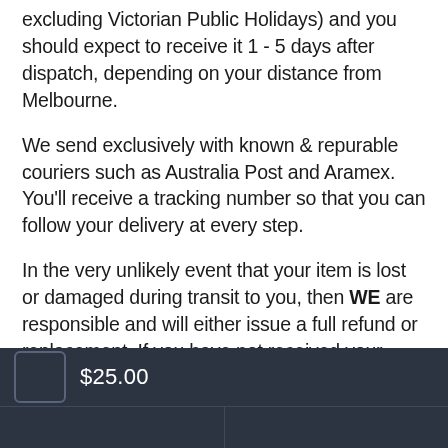excluding Victorian Public Holidays) and you should expect to receive it 1 - 5 days after dispatch, depending on your distance from Melbourne.
We send exclusively with known & repurable couriers such as Australia Post and Aramex. You'll receive a tracking number so that you can follow your delivery at every step.
In the very unlikely event that your item is lost or damaged during transit to you, then WE are responsible and will either issue a full refund or replacement. If you have not received your
$25.00